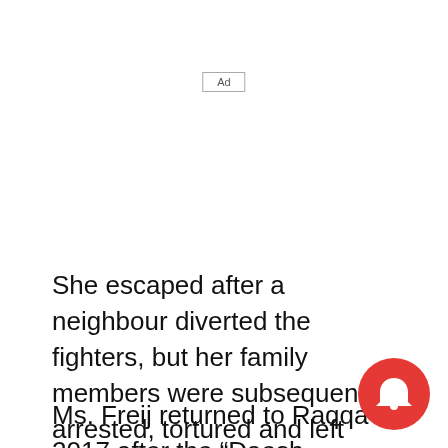[Figure (other): Ad placeholder box with label 'Ad']
She escaped after a neighbour diverted the fighters, but her family members were subsequently arrested, tortured and left traumatized.
Ms. Freij returned to Raqqa in 2017 after the “Daesh nightmare” had ended. “Women were